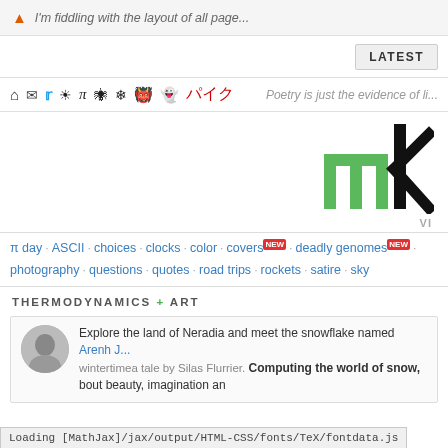I'm fiddling with the layout of all page...
LATEST
Navigation icons: home, email, twitter, camera, pi, space invader, asterisk, monster, monster | パイク | Poetry is just the evidence of li...
[Figure (logo): mk logo in green and black]
VI
π day · ASCII · choices · clocks · color · covers NEW · deadly genomes NEW · photography · questions · quotes · road trips · rockets · satire · sky
THERMODYNAMICS + ART
Explore the land of Neradia and meet the snowflake named Arenh J... wintertimea tale by Silas Flurrier. Computing the world of snow, bout beauty, imagination an
Loading [MathJax]/jax/output/HTML-CSS/fonts/TeX/fontdata.js